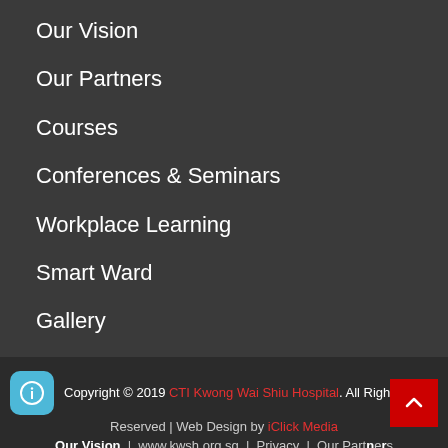Our Vision
Our Partners
Courses
Conferences & Seminars
Workplace Learning
Smart Ward
Gallery
Copyright © 2019 CTI Kwong Wai Shiu Hospital. All Rights Reserved | Web Design by iClick Media
Our Vision | www.kwsh.org.sg | Privacy | Our Partners